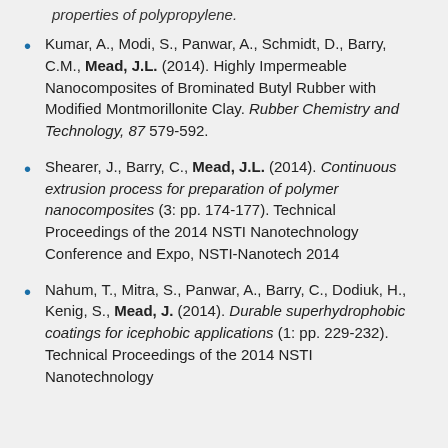properties of polypropylene.
Kumar, A., Modi, S., Panwar, A., Schmidt, D., Barry, C.M., Mead, J.L. (2014). Highly Impermeable Nanocomposites of Brominated Butyl Rubber with Modified Montmorillonite Clay. Rubber Chemistry and Technology, 87 579-592.
Shearer, J., Barry, C., Mead, J.L. (2014). Continuous extrusion process for preparation of polymer nanocomposites (3: pp. 174-177). Technical Proceedings of the 2014 NSTI Nanotechnology Conference and Expo, NSTI-Nanotech 2014
Nahum, T., Mitra, S., Panwar, A., Barry, C., Dodiuk, H., Kenig, S., Mead, J. (2014). Durable superhydrophobic coatings for icephobic applications (1: pp. 229-232). Technical Proceedings of the 2014 NSTI Nanotechnology